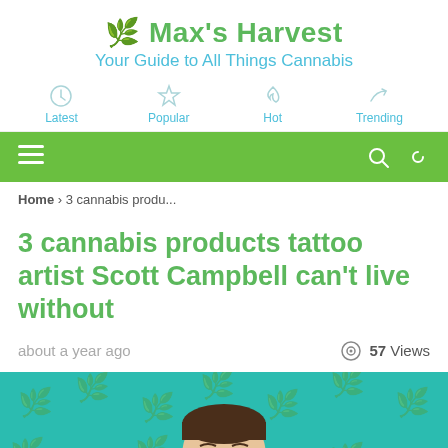🌿 Max's Harvest
Your Guide to All Things Cannabis
[Figure (infographic): Navigation icons row with Latest, Popular, Hot, Trending labels in teal color]
[Figure (infographic): Green navigation bar with hamburger menu icon on left and search and dark mode icons on right]
Home › 3 cannabis produ...
3 cannabis products tattoo artist Scott Campbell can't live without
about a year ago   57 Views
[Figure (illustration): Illustration of a man (Scott Campbell) on teal background with cannabis leaf pattern]